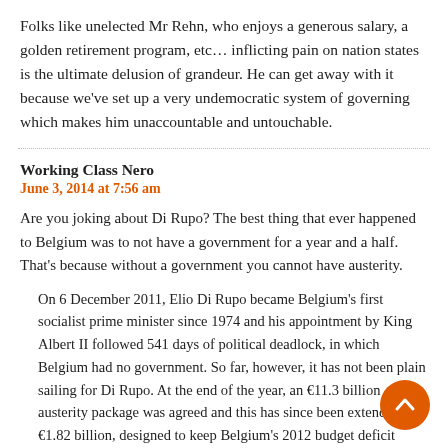Folks like unelected Mr Rehn, who enjoys a generous salary, a golden retirement program, etc… inflicting pain on nation states is the ultimate delusion of grandeur. He can get away with it because we've set up a very undemocratic system of governing which makes him unaccountable and untouchable.
Working Class Nero
June 3, 2014 at 7:56 am
Are you joking about Di Rupo? The best thing that ever happened to Belgium was to not have a government for a year and a half. That's because without a government you cannot have austerity.
On 6 December 2011, Elio Di Rupo became Belgium's first socialist prime minister since 1974 and his appointment by King Albert II followed 541 days of political deadlock, in which Belgium had no government. So far, however, it has not been plain sailing for Di Rupo. At the end of the year, an €11.3 billion austerity package was agreed and this has since been extended by €1.82 billion, designed to keep Belgium's 2012 budget deficit within EU limits. These decisions by the Belgian government have been met by a number of strikes on the...